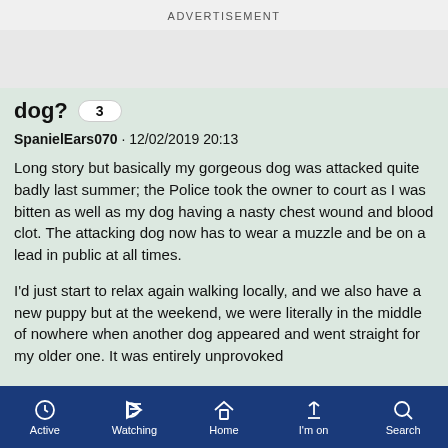ADVERTISEMENT
dog? 3
SpanielEars070 · 12/02/2019 20:13
Long story but basically my gorgeous dog was attacked quite badly last summer; the Police took the owner to court as I was bitten as well as my dog having a nasty chest wound and blood clot. The attacking dog now has to wear a muzzle and be on a lead in public at all times.
I'd just start to relax again walking locally, and we also have a new puppy but at the weekend, we were literally in the middle of nowhere when another dog appeared and went straight for my older one. It was entirely unprovoked
Active  Watching  Home  I'm on  Search